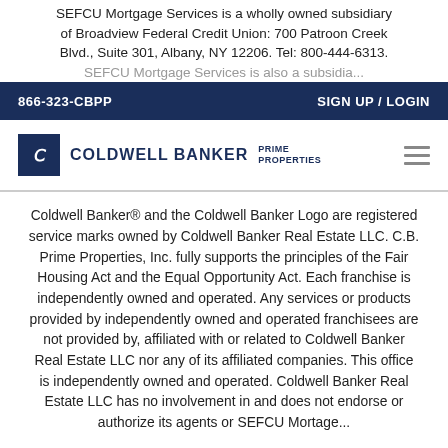SEFCU Mortgage Services is a wholly owned subsidiary of Broadview Federal Credit Union: 700 Patroon Creek Blvd., Suite 301, Albany, NY 12206. Tel: 800-444-6313. SEFCU Mortgage Services is also a subsidiary...
866-323-CBPP    SIGN UP / LOGIN
[Figure (logo): Coldwell Banker Prime Properties logo with navigation hamburger menu]
Coldwell Banker® and the Coldwell Banker Logo are registered service marks owned by Coldwell Banker Real Estate LLC. C.B. Prime Properties, Inc. fully supports the principles of the Fair Housing Act and the Equal Opportunity Act. Each franchise is independently owned and operated. Any services or products provided by independently owned and operated franchisees are not provided by, affiliated with or related to Coldwell Banker Real Estate LLC nor any of its affiliated companies. This office is independently owned and operated. Coldwell Banker Real Estate LLC has no involvement in and does not endorse or authorize its agents or SEFCU Mortgage...